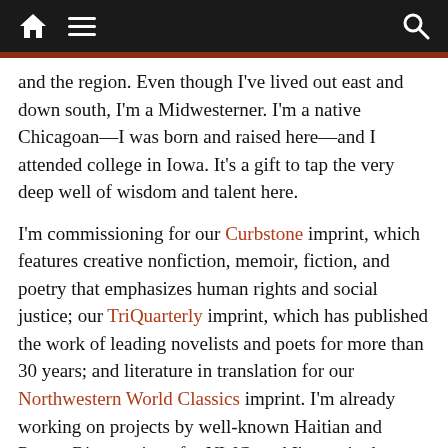Navigation bar with home icon, menu icon, and search icon
and the region. Even though I've lived out east and down south, I'm a Midwesterner. I'm a native Chicagoan—I was born and raised here—and I attended college in Iowa. It's a gift to tap the very deep well of wisdom and talent here.
I'm commissioning for our Curbstone imprint, which features creative nonfiction, memoir, fiction, and poetry that emphasizes human rights and social justice; our TriQuarterly imprint, which has published the work of leading novelists and poets for more than 30 years; and literature in translation for our Northwestern World Classics imprint. I'm already working on projects by well-known Haitian and Puerto Rican writers for NWC, and I'm excited to make this list more expansive.
Working directly with creative writers—primarily novelists and short story writers for the most part—it's